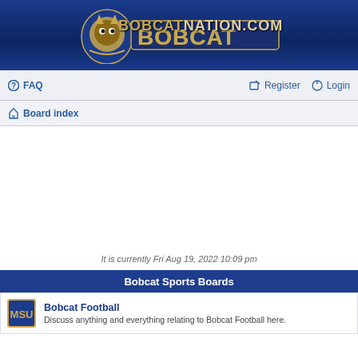[Figure (logo): BobcatNation.com logo with bobcat mascot on blue background]
FAQ  Register  Login
Board index
It is currently Fri Aug 19, 2022 10:09 pm
Bobcat Sports Boards
Bobcat Football
Discuss anything and everything relating to Bobcat Football here.